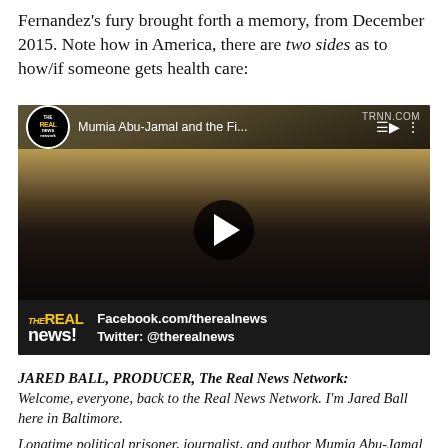Fernandez's fury brought forth a memory, from December 2015. Note how in America, there are two sides as to how/if someone gets health care:
[Figure (screenshot): Embedded video player from The Real News Network (TRNN.COM) showing a woman with dreadlocks being interviewed. Video title reads 'Mumia Abu-Jamal and the Fi...'. Bottom bar shows Facebook.com/therealnews and Twitter: @therealnews logos.]
JARED BALL, PRODUCER, The Real News Network: Welcome, everyone, back to the Real News Network. I'm Jared Ball here in Baltimore.
Longtime political prisoner, journalist, and author Mumia Abu-Jamal testified in a Scranton, Pennsylvania